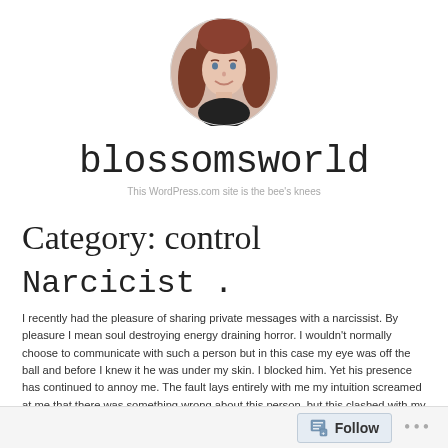[Figure (photo): Circular avatar photo of a woman with reddish-brown hair smiling]
blossomsworld
This WordPress.com site is the bee's knees
Category: control
Narcicist .
I recently had the pleasure of sharing private messages with a narcissist. By pleasure I mean soul destroying energy draining horror. I wouldn't normally choose to communicate with such a person but in this case my eye was off the ball and before I knew it he was under my skin. I blocked him. Yet his presence has continued to annoy me. The fault lays entirely with me my intuition screamed at me that there was something wrong about this person, but this clashed with my beliefs that we shouldn't judge a person on first
Follow